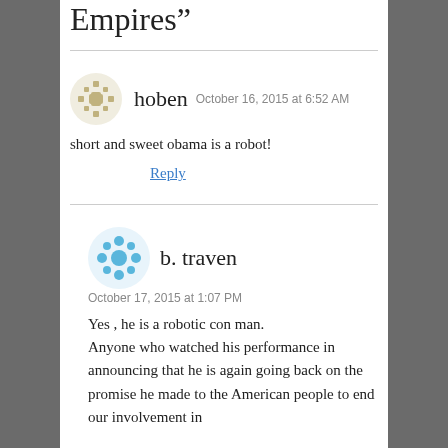Empires”
hoben  October 16, 2015 at 6:52 AM
short and sweet obama is a robot!
Reply
b. traven  October 17, 2015 at 1:07 PM
Yes , he is a robotic con man. Anyone who watched his performance in announcing that he is again going back on the promise he made to the American people to end our involvement in